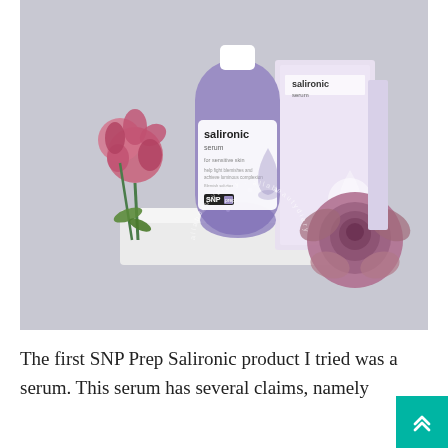[Figure (photo): Product photo of SNP Prep Salironic Serum in a purple glass bottle with white label, alongside the product box. Pink and mauve flowers decorate the scene. Product is placed on a white rectangular pedestal against a light grey background. A circular watermark reading 'allabeautydiary' is visible.]
The first SNP Prep Salironic product I tried was a serum. This serum has several claims, namely